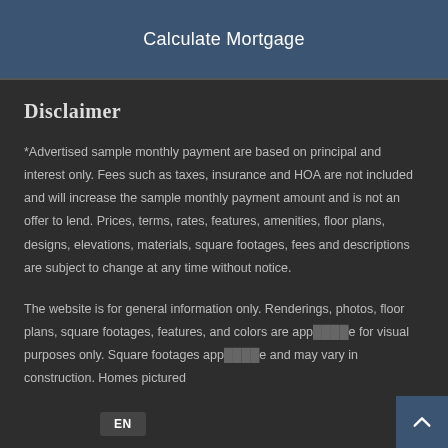Calculate Mortgage
DISCLAIMER
*Advertised sample monthly payment are based on principal and interest only. Fees such as taxes, insurance and HOA are not included and will increase the sample monthly payment amount and is not an offer to lend. Prices, terms, rates, features, amenities, floor plans, designs, elevations, materials, square footages, fees and descriptions are subject to change at any time without notice.
The website is for general information only. Renderings, photos, floor plans, square footages, features, and colors are approximate for visual purposes only. Square footages are approximate and may vary in construction. Homes pictured